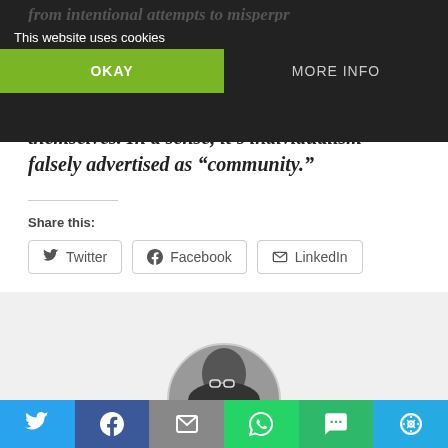This website uses cookies
OKAY
MORE INFO
themselves. In a sense, it’s individualism falsely advertised as “community.”
Share this:
Twitter
Facebook
LinkedIn
No related posts.
[Figure (photo): Black and white circular author photo showing a person with glasses]
[Figure (infographic): Bottom social share bar with Twitter, Facebook, Email, WhatsApp, SMS, and More icons]